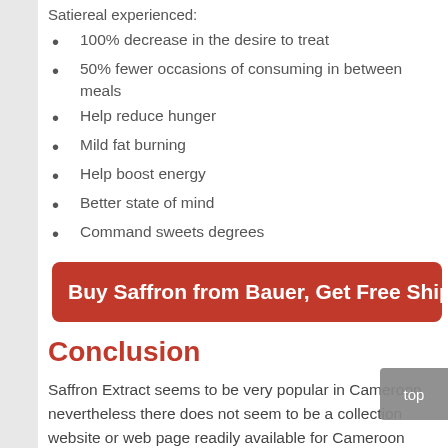Satiereal experienced:
100% decrease in the desire to treat
50% fewer occasions of consuming in between meals
Help reduce hunger
Mild fat burning
Help boost energy
Better state of mind
Command sweets degrees
Buy Saffron from Bauer, Get Free Shippi
Conclusion
Saffron Extract seems to be very popular in Cameroon, nevertheless there does not seem to be a collection website or web page readily available for Cameroon particularly. One more product which seems efficiently the exact same item, although this is unconfirmed. The Saffron Weight Management from BauerNutrition